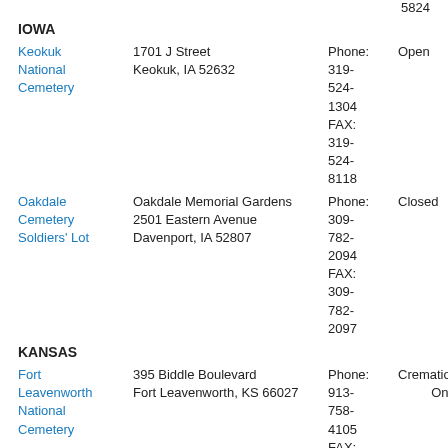5824
IOWA
Keokuk National Cemetery | 1701 J Street, Keokuk, IA 52632 | Phone: 319-524-1304 FAX: 319-524-8118 | Open
Oakdale Cemetery Soldiers' Lot | Oakdale Memorial Gardens, 2501 Eastern Avenue, Davenport, IA 52807 | Phone: 309-782-2094 FAX: 309-782-2097 | Closed
KANSAS
Fort Leavenworth National Cemetery | 395 Biddle Boulevard, Fort Leavenworth, KS 66027 | Phone: 913-758-4105 FAX: 913- | Cremation Only